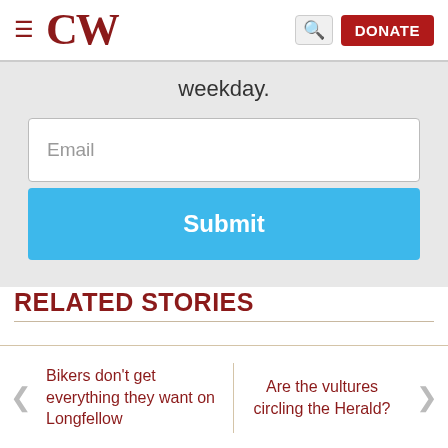CW — DONATE
weekday.
Email
Submit
RELATED STORIES
Bikers don't get everything they want on Longfellow
Are the vultures circling the Herald?